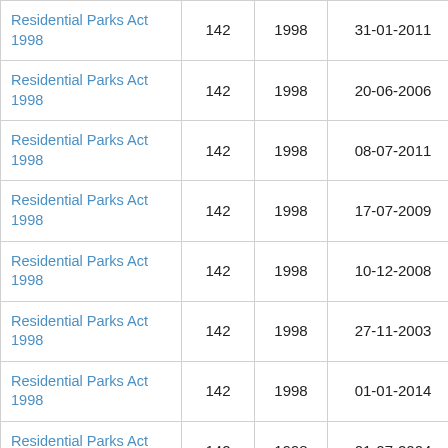| Residential Parks Act 1998 | 142 | 1998 | 31-01-2011 | 09-05-2011 |
| Residential Parks Act 1998 | 142 | 1998 | 20-06-2006 | 06-12-2007 |
| Residential Parks Act 1998 | 142 | 1998 | 08-07-2011 | 12-09-2011 |
| Residential Parks Act 1998 | 142 | 1998 | 17-07-2009 | 30-01-2011 |
| Residential Parks Act 1998 | 142 | 1998 | 10-12-2008 | 05-07-2009 |
| Residential Parks Act 1998 | 142 | 1998 | 27-11-2003 | 30-06-2004 |
| Residential Parks Act 1998 | 142 | 1998 | 01-01-2014 | 31-10-2015 |
| Residential Parks Act 1998 | 142 | 1998 | 01-07-2004 | 09-12-2004 |